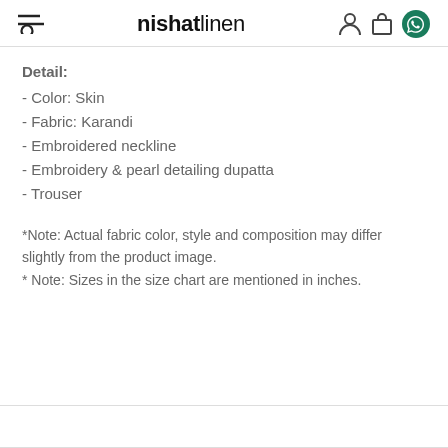nishatlinen
Detail:
- Color: Skin
- Fabric: Karandi
- Embroidered neckline
- Embroidery & pearl detailing dupatta
- Trouser
*Note: Actual fabric color, style and composition may differ slightly from the product image.
* Note: Sizes in the size chart are mentioned in inches.